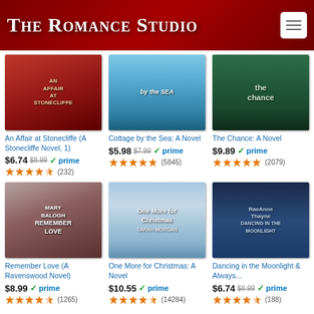The Romance Studio
[Figure (illustration): Book cover: An Affair at Stonecliffe]
An Affair at Stonecliffe (A Stonecliffe Novel, 1)
$6.74 $8.99 prime (232)
[Figure (illustration): Book cover: Cottage by the Sea: A Novel]
Cottage by the Sea: A Novel
$5.98 $7.99 prime (5845)
[Figure (illustration): Book cover: The Chance: A Novel]
The Chance: A Novel
$9.89 prime (2079)
[Figure (illustration): Book cover: Remember Love (A Ravenswood Novel) by Mary Balogh]
Remember Love (A Ravenswood Novel)
$8.99 prime (1265)
[Figure (illustration): Book cover: One More for Christmas: A Novel by Sarah Morgan]
One More for Christmas: A Novel
$10.55 prime (14284)
[Figure (illustration): Book cover: Dancing in the Moonlight & Always...]
Dancing in the Moonlight & Always...
$6.74 $8.99 prime (188)